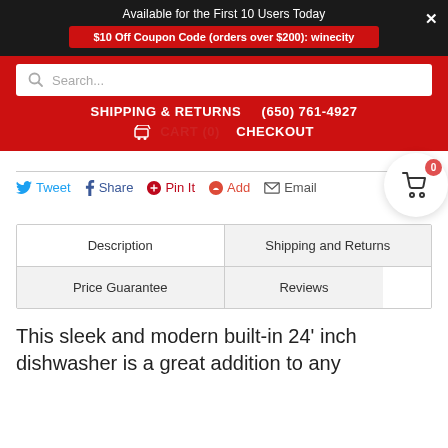Available for the First 10 Users Today
$10 Off Coupon Code (orders over $200): winecity
[Figure (screenshot): Search bar with magnifying glass icon and placeholder text 'Search...']
SHIPPING & RETURNS   (650) 761-4927
CART (0)   CHECKOUT
[Figure (other): Social sharing buttons: Tweet, Share, Pin It, Add, Email]
Description | Shipping and Returns | Price Guarantee | Reviews
This sleek and modern built-in 24' inch dishwasher is a great addition to any